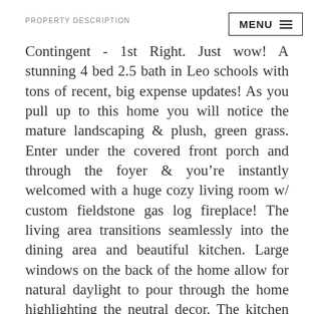PROPERTY DESCRIPTION
Contingent - 1st Right. Just wow! A stunning 4 bed 2.5 bath in Leo schools with tons of recent, big expense updates! As you pull up to this home you will notice the mature landscaping & plush, green grass. Enter under the covered front porch and through the foyer & you’re instantly welcomed with a huge cozy living room w/ custom fieldstone gas log fireplace! The living area transitions seamlessly into the dining area and beautiful kitchen. Large windows on the back of the home allow for natural daylight to pour through the home highlighting the neutral decor. The kitchen has tons of countertop and cabinet space as well as a subway tiled backsplash and vinyl plank flooring. A dedicated laundry room is on the main floor with cabinetry, floating shelves, access to the